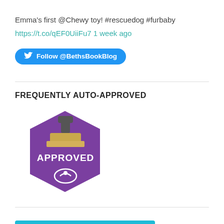Emma's first @Chewy toy! #rescuedog #furbaby https://t.co/qEF0UiiFu7 1 week ago
[Figure (other): Twitter Follow @BethsBookBlog button (blue rounded rectangle with Twitter bird icon)]
FREQUENTLY AUTO-APPROVED
[Figure (logo): Purple hexagon APPROVED stamp badge with stamp icon and swirl graphic]
[Figure (other): WordPress Follow Beth's Book-Nook Blog button (teal rounded rectangle with WordPress circle icon)]
TAGS